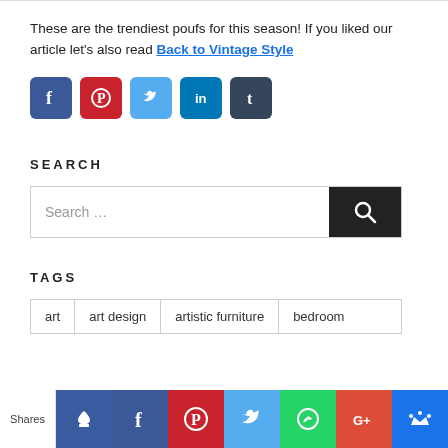These are the trendiest poufs for this season! If you liked our article let's also read Back to Vintage Style
[Figure (other): Social sharing icons: Facebook, Pinterest, Twitter, LinkedIn, Tumblr]
SEARCH
[Figure (other): Search input box with Search... placeholder and dark search button]
TAGS
art  art design  artistic furniture  bedroom
[Figure (other): Bottom sharing bar with Shares label and icons: thumbs up, Facebook, Pinterest, Twitter, WhatsApp, Google+, crown]